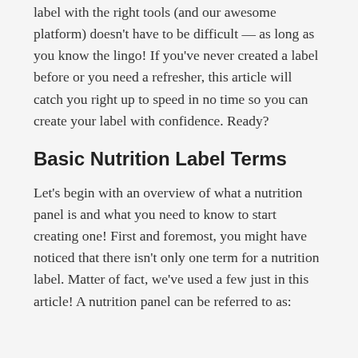label with the right tools (and our awesome platform) doesn't have to be difficult — as long as you know the lingo! If you've never created a label before or you need a refresher, this article will catch you right up to speed in no time so you can create your label with confidence. Ready?
Basic Nutrition Label Terms
Let's begin with an overview of what a nutrition panel is and what you need to know to start creating one! First and foremost, you might have noticed that there isn't only one term for a nutrition label. Matter of fact, we've used a few just in this article! A nutrition panel can be referred to as: